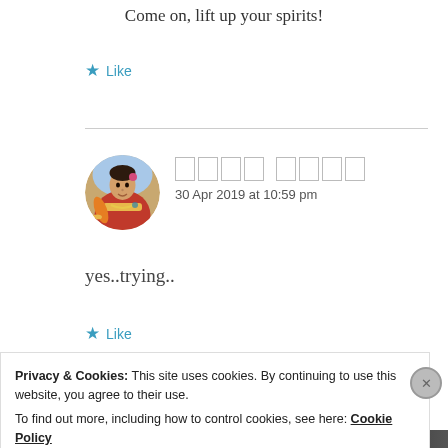Come on, lift up your spirits!
★ Like
[commenter name redacted] — 30 Apr 2019 at 10:59 pm
yes..trying..
★ Like
Privacy & Cookies: This site uses cookies. By continuing to use this website, you agree to their use.
To find out more, including how to control cookies, see here: Cookie Policy
Close and accept